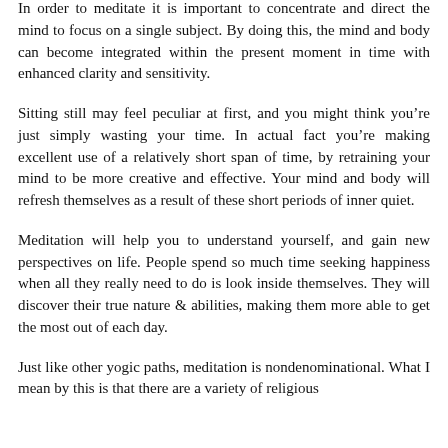In order to meditate it is important to concentrate and direct the mind to focus on a single subject. By doing this, the mind and body can become integrated within the present moment in time with enhanced clarity and sensitivity.
Sitting still may feel peculiar at first, and you might think you're just simply wasting your time. In actual fact you're making excellent use of a relatively short span of time, by retraining your mind to be more creative and effective. Your mind and body will refresh themselves as a result of these short periods of inner quiet.
Meditation will help you to understand yourself, and gain new perspectives on life. People spend so much time seeking happiness when all they really need to do is look inside themselves. They will discover their true nature & abilities, making them more able to get the most out of each day.
Just like other yogic paths, meditation is nondenominational. What I mean by this is that there are a variety of religious